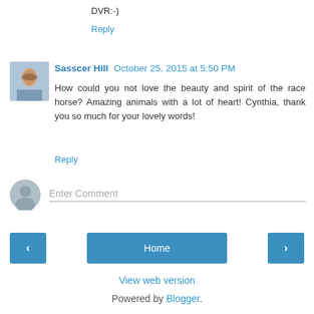DVR:-)
Reply
Sasscer Hill  October 25, 2015 at 5:50 PM
How could you not love the beauty and spirit of the race horse? Amazing animals with a lot of heart! Cynthia, thank you so much for your lovely words!
Reply
Enter Comment
Home
View web version
Powered by Blogger.